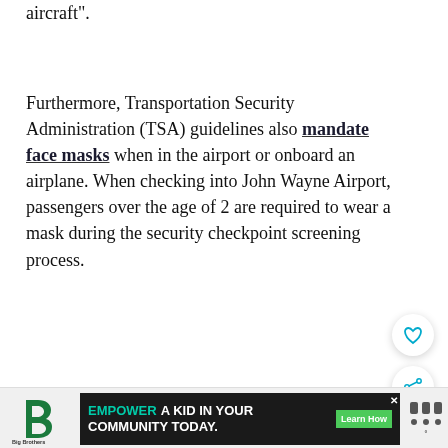aircraft".
Furthermore, Transportation Security Administration (TSA) guidelines also mandate face masks when in the airport or onboard an airplane. When checking into John Wayne Airport, passengers over the age of 2 are required to wear a mask during the security checkpoint screening process.
[Figure (other): Heart/favorite button (circular white button with heart icon)]
[Figure (other): Share button (circular white button with share icon)]
[Figure (other): What's Next card with thumbnail image and text: 2022 Orange County...]
[Figure (other): Bottom advertisement banner with Big Brothers Big Sisters logo, EMPOWER A KID IN YOUR COMMUNITY TODAY. ad with Learn How button]